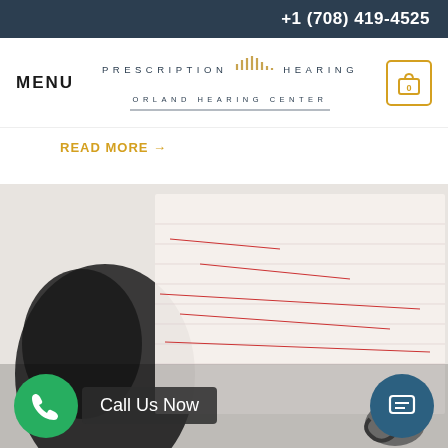+1 (708) 419-4525
[Figure (logo): Prescription Hearing Orland Hearing Center logo with sound wave graphic]
READ MORE →
[Figure (photo): Photo of headphones on an audiogram chart with a stethoscope, with 'Call Us Now' button overlay and phone/chat icons]